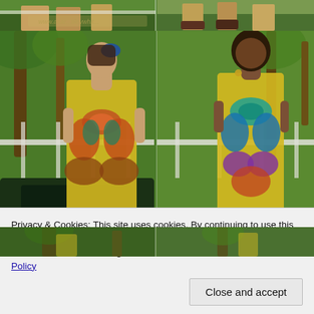[Figure (photo): Top strip showing cropped legs and feet of fashion models outdoors with white fence and garden background, with watermark text overlay]
[Figure (photo): Two fashion models wearing vibrant yellow butterfly-print patterned dresses in a tropical garden setting with palm trees and pond. Left model has blue hair accessory, right model has natural afro hair.]
[Figure (photo): Partial bottom strip showing another outdoor fashion photo]
Privacy & Cookies: This site uses cookies. By continuing to use this website, you agree to their use.
To find out more, including how to control cookies, see here: Cookie Policy
Close and accept